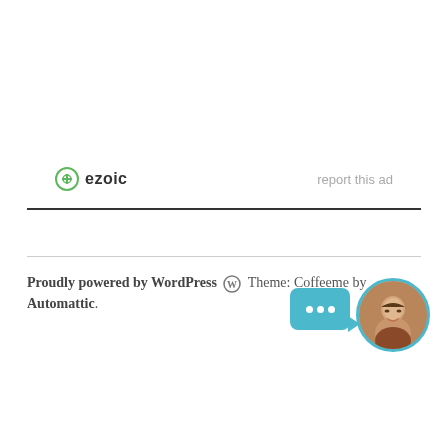[Figure (logo): Ezoic logo with green circular icon and bold 'ezoic' text, alongside 'report this ad' link in light gray]
Proudly powered by WordPress Theme: Coffeeme by Automattic.
[Figure (other): Teal chat bubble with three white dots and arrow, overlapping a circular avatar photo of a smiling woman with teal border]